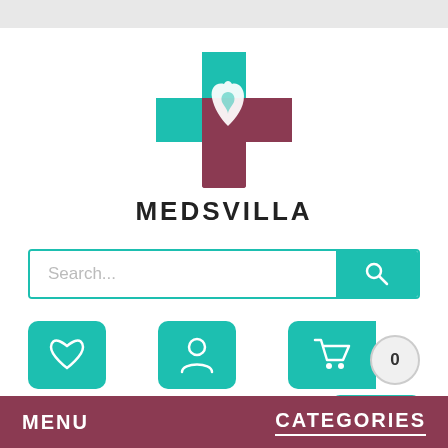[Figure (logo): Medsvilla logo: teal and dark red cross with white hand icon, text MEDSVILLA below in bold dark letters]
[Figure (screenshot): Search bar with Search... placeholder text and teal search button with magnifying glass icon]
[Figure (screenshot): Three icon buttons: heart/wishlist (teal), person/account (teal), shopping cart (teal) with badge showing 0, and up-arrow button]
MENU
CATEGORIES